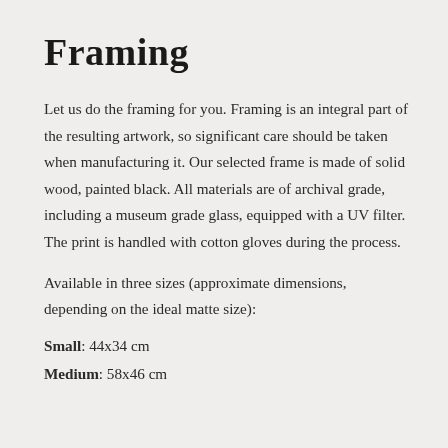Framing
Let us do the framing for you. Framing is an integral part of the resulting artwork, so significant care should be taken when manufacturing it. Our selected frame is made of solid wood, painted black. All materials are of archival grade, including a museum grade glass, equipped with a UV filter. The print is handled with cotton gloves during the process.
Available in three sizes (approximate dimensions, depending on the ideal matte size):
Small: 44x34 cm
Medium: 58x46 cm